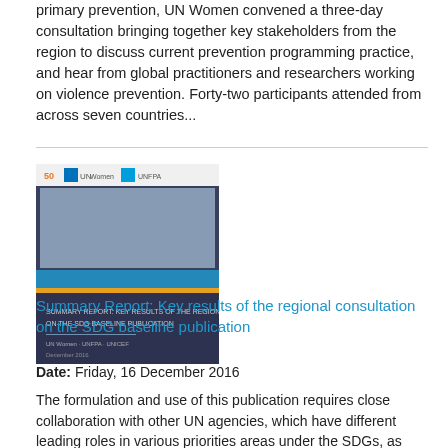primary prevention, UN Women convened a three-day consultation bringing together key stakeholders from the region to discuss current prevention programming practice, and hear from global practitioners and researchers working on violence prevention. Forty-two participants attended from across seven countries...
[Figure (photo): Cover image of a publication report showing a group photo and colored header bands, with logos at the top.]
Summary Report: Key results of the regional consultation on the SDG baseline publication
Date: Friday, 16 December 2016
The formulation and use of this publication requires close collaboration with other UN agencies, which have different leading roles in various priorities areas under the SDGs, as well as a wide range of partners, including governments and civil society representatives. Simultaneously, regional multi-stakeholder consultation is required to enhance strategic partnerships and ownership of the SDGs Baseline Publication as well as its policy